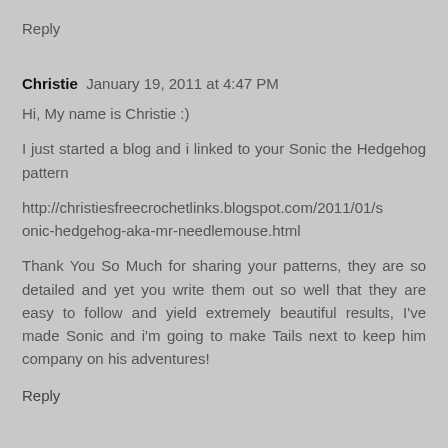Reply
Christie  January 19, 2011 at 4:47 PM
Hi, My name is Christie :)
I just started a blog and i linked to your Sonic the Hedgehog pattern
http://christiesfreecrochetlinks.blogspot.com/2011/01/sonic-hedgehog-aka-mr-needlemouse.html
Thank You So Much for sharing your patterns, they are so detailed and yet you write them out so well that they are easy to follow and yield extremely beautiful results, I've made Sonic and i'm going to make Tails next to keep him company on his adventures!
Reply
Lady Link  February 7, 2011 at 10:15 AM